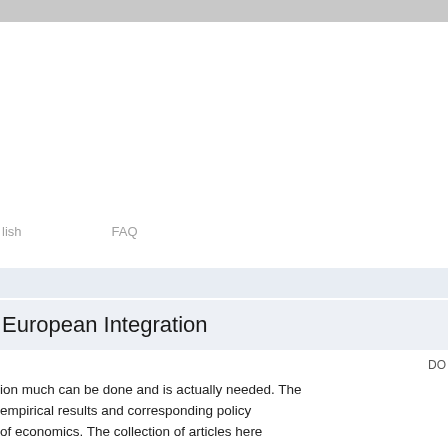lish    FAQ
European Integration
DO
ion much can be done and is actually needed. The empirical results and corresponding policy of economics. The collection of articles here provides a